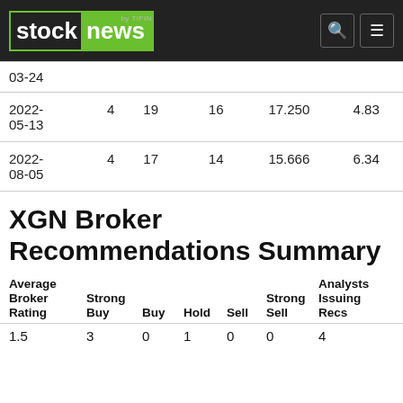Stock News by TIFIN
| Date |  |  |  |  |  |
| --- | --- | --- | --- | --- | --- |
| 03-24 |  |  |  |  |  |
| 2022-05-13 | 4 | 19 | 16 | 17.250 | 4.83 |
| 2022-08-05 | 4 | 17 | 14 | 15.666 | 6.34 |
XGN Broker Recommendations Summary
| Average Broker Rating | Strong Buy | Buy | Hold | Sell | Strong Sell | Analysts Issuing Recs |
| --- | --- | --- | --- | --- | --- | --- |
| 1.5 | 3 | 0 | 1 | 0 | 0 | 4 |